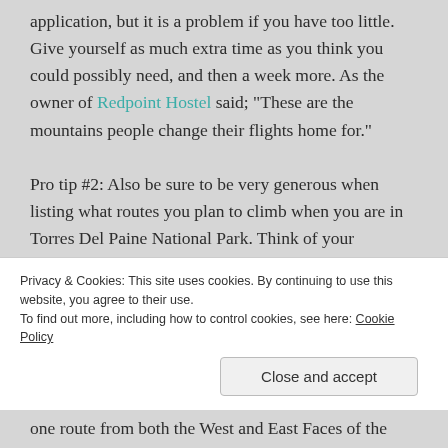application, but it is a problem if you have too little. Give yourself as much extra time as you think you could possibly need, and then a week more. As the owner of Redpoint Hostel said; "These are the mountains people change their flights home for."
Pro tip #2: Also be sure to be very generous when listing what routes you plan to climb when you are in Torres Del Paine National Park. Think of your DIFROL form as like a passport, and the routes you list as country visas. You will only be allowed to travel to (and stay in) locations that are logical for the routes you have listed
Privacy & Cookies: This site uses cookies. By continuing to use this website, you agree to their use.
To find out more, including how to control cookies, see here: Cookie Policy
Close and accept
one route from both the West and East Faces of the